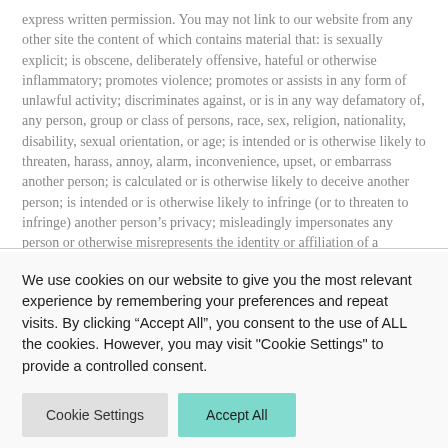express written permission. You may not link to our website from any other site the content of which contains material that: is sexually explicit; is obscene, deliberately offensive, hateful or otherwise inflammatory; promotes violence; promotes or assists in any form of unlawful activity; discriminates against, or is in any way defamatory of, any person, group or class of persons, race, sex, religion, nationality, disability, sexual orientation, or age; is intended or is otherwise likely to threaten, harass, annoy, alarm, inconvenience, upset, or embarrass another person; is calculated or is otherwise likely to deceive another person; is intended or is otherwise likely to infringe (or to threaten to infringe) another person's privacy; misleadingly impersonates any person or otherwise misrepresents the identity or affiliation of a
We use cookies on our website to give you the most relevant experience by remembering your preferences and repeat visits. By clicking “Accept All”, you consent to the use of ALL the cookies. However, you may visit "Cookie Settings" to provide a controlled consent.